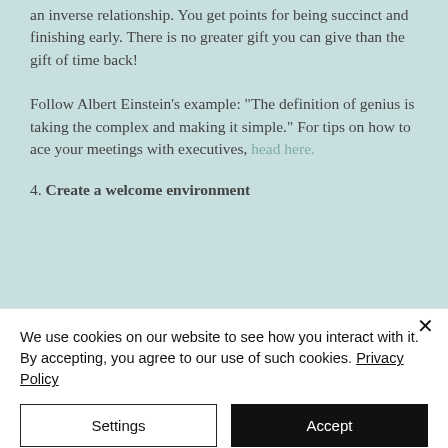an inverse relationship. You get points for being succinct and finishing early. There is no greater gift you can give than the gift of time back!
Follow Albert Einstein's example: "The definition of genius is taking the complex and making it simple." For tips on how to ace your meetings with executives, head here.
4. Create a welcome environment
We use cookies on our website to see how you interact with it. By accepting, you agree to our use of such cookies. Privacy Policy